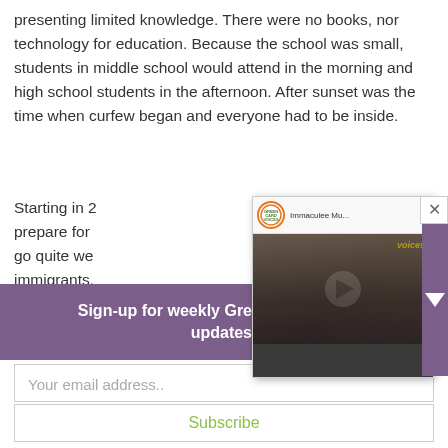presenting limited knowledge. There were no books, nor technology for education. Because the school was small, students in middle school would attend in the morning and high school students in the afternoon. After sunset was the time when curfew began and everyone had to be inside.
Starting in 2... prepare for... go quite we... immigrants... got a secon...
[Figure (screenshot): Embedded video player popup showing Green Card Voices channel with video thumbnail of a person, titled 'Immaculee Mu...' with play button, and a close (X) button in the top right corner.]
Sign-up for weekly Green Card Voices' updates!
Your email address..
Subscribe